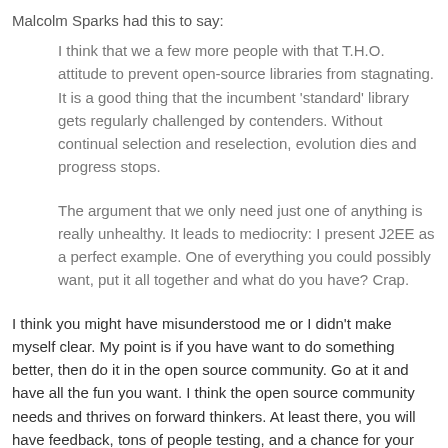Malcolm Sparks had this to say:
I think that we a few more people with that T.H.O. attitude to prevent open-source libraries from stagnating. It is a good thing that the incumbent 'standard' library gets regularly challenged by contenders. Without continual selection and reselection, evolution dies and progress stops.
The argument that we only need just one of anything is really unhealthy. It leads to mediocrity: I present J2EE as a perfect example. One of everything you could possibly want, put it all together and what do you have? Crap.
I think you might have misunderstood me or I didn't make myself clear. My point is if you have want to do something better, then do it in the open source community. Go at it and have all the fun you want. I think the open source community needs and thrives on forward thinkers. At least there, you will have feedback, tons of people testing, and a chance for your